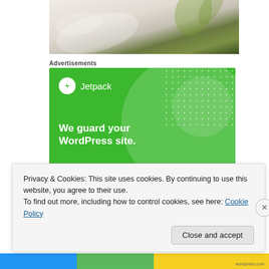[Figure (photo): Partial photo of decorative or food items, cream/white and green tones]
Advertisements
[Figure (other): Jetpack advertisement banner: green background with Jetpack logo, text 'We guard your WordPress site. You run your business.']
Privacy & Cookies: This site uses cookies. By continuing to use this website, you agree to their use.
To find out more, including how to control cookies, see here: Cookie Policy
Close and accept